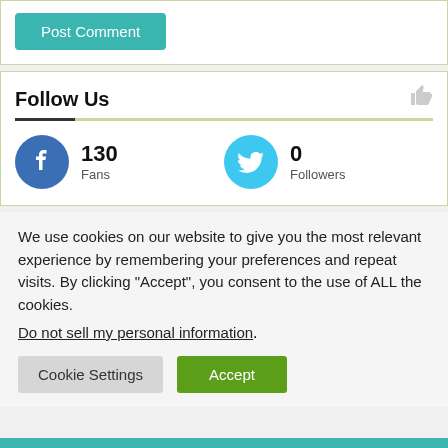[Figure (other): Post Comment button - teal/green rectangular button with white text]
Follow Us
[Figure (infographic): Social media follow counts: Facebook 130 Fans, Twitter 0 Followers]
We use cookies on our website to give you the most relevant experience by remembering your preferences and repeat visits. By clicking “Accept”, you consent to the use of ALL the cookies.
Do not sell my personal information.
[Figure (other): Cookie Settings and Accept buttons]